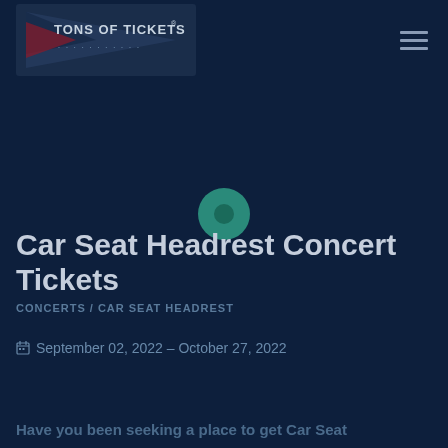[Figure (logo): Tons of Tickets logo — dark blue triangular shape with white/light text reading TONS OF TICKETS]
[Figure (illustration): Teal circular icon with a darker teal dot in the center, representing a map pin or similar marker]
Car Seat Headrest Concert Tickets
CONCERTS / CAR SEAT HEADREST
September 02, 2022 – October 27, 2022
Have you been seeking a place to get Car Seat